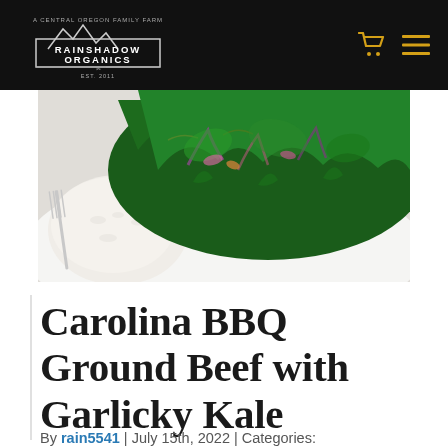RAINSHADOW ORGANICS
[Figure (photo): Close-up photo of a dish featuring dark green garlicky kale leaves with purple accents, served alongside white rice and a fork on a white plate.]
Carolina BBQ Ground Beef with Garlicky Kale
By rain5541 | July 15th, 2022 | Categories: Recipes